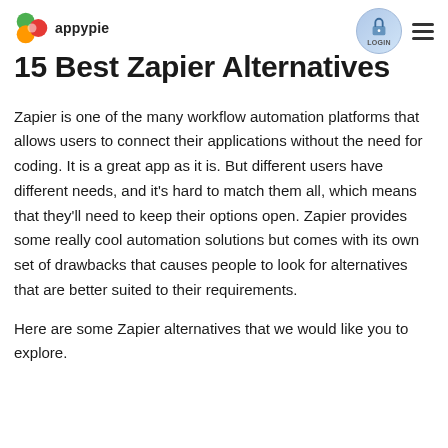appypie
15 Best Zapier Alternatives
Zapier is one of the many workflow automation platforms that allows users to connect their applications without the need for coding. It is a great app as it is. But different users have different needs, and it's hard to match them all, which means that they'll need to keep their options open. Zapier provides some really cool automation solutions but comes with its own set of drawbacks that causes people to look for alternatives that are better suited to their requirements.
Here are some Zapier alternatives that we would like you to explore.